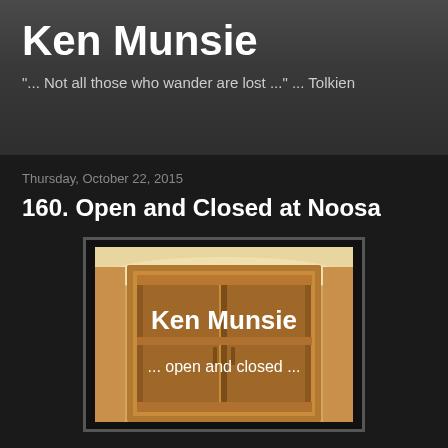Ken Munsie
"... Not all those who wander are lost ..." ... Tolkien
Thursday, October 22, 2015
160. Open and Closed at Noosa
[Figure (illustration): Book cover for 'Ken Munsie open and closed ...' showing a painted wooden wardrobe/door with an orange and sandy background. White text reads 'Ken Munsie' and '... open and closed ...']